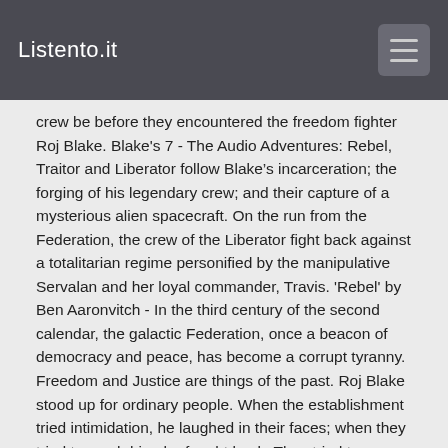Listento.it
crew be before they encountered the freedom fighter Roj Blake. Blake's 7 - The Audio Adventures: Rebel, Traitor and Liberator follow Blake’s incarceration; the forging of his legendary crew; and their capture of a mysterious alien spacecraft. On the run from the Federation, the crew of the Liberator fight back against a totalitarian regime personified by the manipulative Servalan and her loyal commander, Travis. 'Rebel' by Ben Aaronvitch - In the third century of the second calendar, the galactic Federation, once a beacon of democracy and peace, has become a corrupt tyranny. Freedom and Justice are things of the past. Roj Blake stood up for ordinary people. When the establishment tried intimidation, he laughed in their faces; when they tried to crush him, he fought back. They tried to brainwash him into obedience, but he broke their conditioning. Finally, they framed him for crimes he didn't commit and sentenced him to permanent exile on the notorious